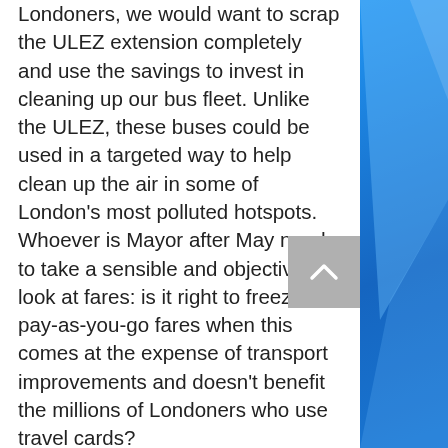Londoners, we would want to scrap the ULEZ extension completely and use the savings to invest in cleaning up our bus fleet. Unlike the ULEZ, these buses could be used in a targeted way to help clean up the air in some of London's most polluted hotspots. Whoever is Mayor after May needs to take a sensible and objective look at fares: is it right to freeze pay-as-you-go fares when this comes at the expense of transport improvements and doesn't benefit the millions of Londoners who use travel cards?
As we enter 2020, memories of 2019 will leave Londoners in no doubt that Sadiq Khan's mayoralty has been at best a retrograde step for our city and a worst...